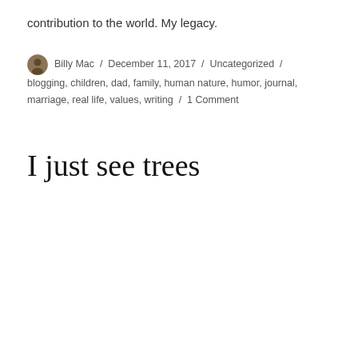contribution to the world. My legacy.
Billy Mac / December 11, 2017 / Uncategorized / blogging, children, dad, family, human nature, humor, journal, marriage, real life, values, writing / 1 Comment
I just see trees